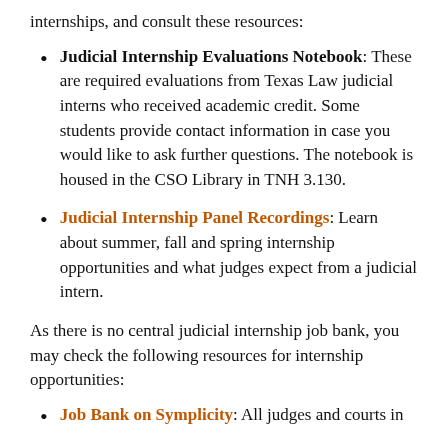internships, and consult these resources:
Judicial Internship Evaluations Notebook: These are required evaluations from Texas Law judicial interns who received academic credit. Some students provide contact information in case you would like to ask further questions. The notebook is housed in the CSO Library in TNH 3.130.
Judicial Internship Panel Recordings: Learn about summer, fall and spring internship opportunities and what judges expect from a judicial intern.
As there is no central judicial internship job bank, you may check the following resources for internship opportunities:
Job Bank on Symplicity: All judges and courts in